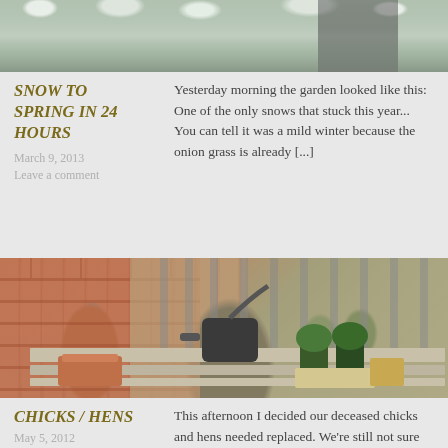[Figure (photo): Winter garden scene showing snow-covered plants and a staircase railing in the background]
SNOW TO SPRING IN 24 HOURS
March 9, 2013
Leave a comment
Yesterday morning the garden looked like this: One of the only snows that stuck this year... You can tell it was a mild winter because the onion grass is already [...]
[Figure (photo): Garden bench with terracotta pot, black watering can, two green plants in pots, and a paper bag, against a brick wall with wooden fence slats]
CHICKS / HENS
May 5, 2012
Leave a comment
This afternoon I decided our deceased chicks and hens needed replaced. We're still not sure why they died, but we really like them so we decided to try again: After [...]